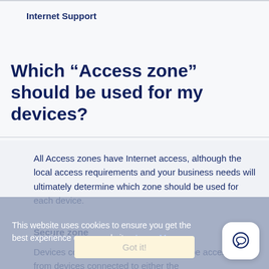Internet Support
Which “Access zone” should be used for my devices?
All Access zones have Internet access, although the local access requirements and your business needs will ultimately determine which zone should be used for each device.
Secure zone
Devices connected to this zone cannot be accessed from devices connected to either the
This website uses cookies to ensure you get the best experience on our website. Learn More
Got it!